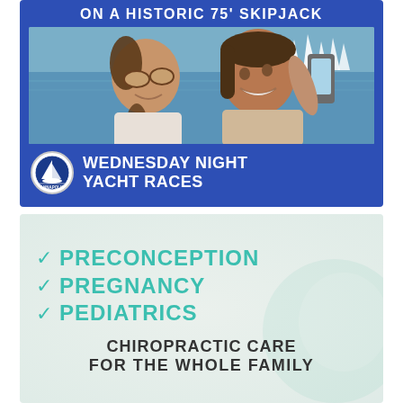[Figure (infographic): Blue advertisement for Wednesday Night Yacht Races on a Historic 75' Skipjack at Annapolis Maritime Museum & Park. Features a photo of two women taking a selfie with sailboats in the background on the water.]
[Figure (infographic): Light-teal advertisement with checkmarks listing Preconception, Pregnancy, Pediatrics chiropractic care services, with baby-related background imagery.]